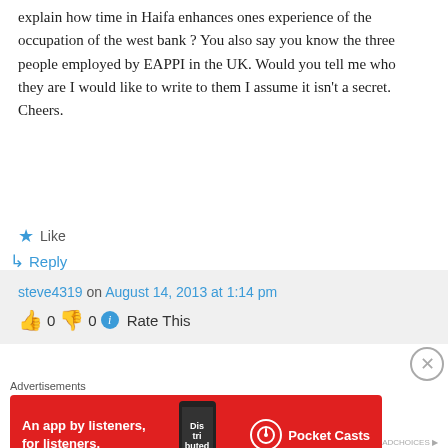explain how time in Haifa enhances ones experience of the occupation of the west bank ? You also say you know the three people employed by EAPPI in the UK. Would you tell me who they are I would like to write to them I assume it isn't a secret. Cheers.
★ Like
↳ Reply
steve4319 on August 14, 2013 at 1:14 pm
👍 0 👎 0 ℹ Rate This
Advertisements
[Figure (screenshot): Red Pocket Casts advertisement banner showing 'An app by listeners, for listeners.' with phone image and Pocket Casts logo]